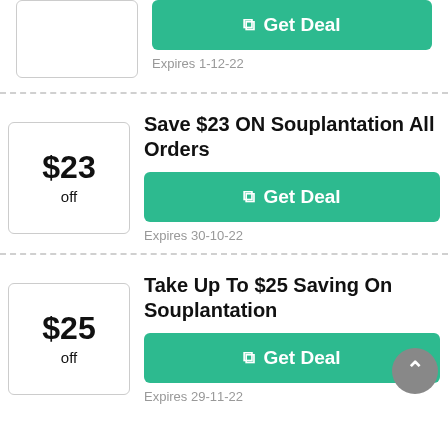[Figure (other): Partial coupon badge at top of page (clipped), showing a bordered box with no visible amount]
Get Deal
Expires 1-12-22
Save $23 ON Souplantation All Orders
Get Deal
Expires 30-10-22
Take Up To $25 Saving On Souplantation
Get Deal
Expires 29-11-22